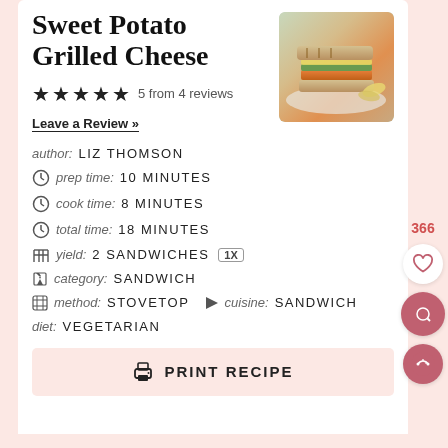Sweet Potato Grilled Cheese
★★★★★ 5 from 4 reviews
Leave a Review »
[Figure (photo): Photo of sweet potato grilled cheese sandwich stacked on a plate with chips]
author: LIZ THOMSON
prep time: 10 MINUTES
cook time: 8 MINUTES
total time: 18 MINUTES
yield: 2 SANDWICHES 1X
category: SANDWICH
method: STOVETOP  cuisine: SANDWICH
diet: VEGETARIAN
PRINT RECIPE